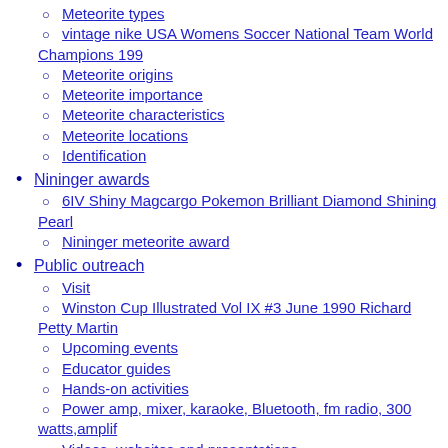Meteorite types
vintage nike USA Womens Soccer National Team World Champions 199
Meteorite origins
Meteorite importance
Meteorite characteristics
Meteorite locations
Identification
Nininger awards
6IV Shiny Magcargo Pokemon Brilliant Diamond Shining Pearl
Nininger meteorite award
Public outreach
Visit
Winston Cup Illustrated Vol IX #3 June 1990 Richard Petty Martin
Upcoming events
Educator guides
Hands-on activities
Power amp, mixer, karaoke, Bluetooth, fm radio, 300 watts,amplif
Videos, websites and presentations
Meteorite module information
Central America 1989 Mushroom Set Nice Cancelled VE591